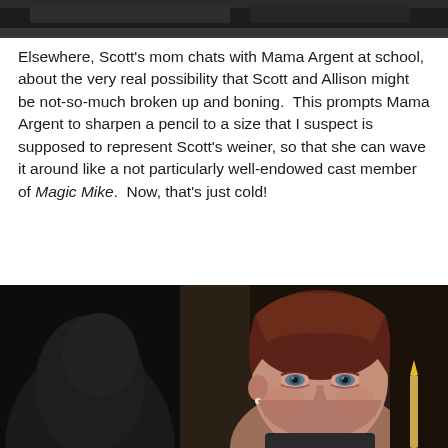[Figure (photo): Dark screenshot from a TV show, partially visible at the top of the page]
Elsewhere, Scott's mom chats with Mama Argent at school, about the very real possibility that Scott and Allison might be not-so-much broken up and boning.  This prompts Mama Argent to sharpen a pencil to a size that I suspect is supposed to represent Scott's weiner, so that she can wave it around like a not particularly well-endowed cast member of Magic Mike.  Now, that's just cold!
[Figure (photo): Screenshot of a woman with short red/auburn hair looking stern or threatening, from a TV show scene]